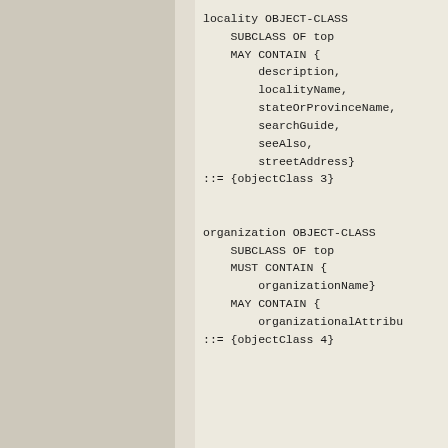locality OBJECT-CLASS
    SUBCLASS OF top
    MAY CONTAIN {
        description,
        localityName,
        stateOrProvinceName,
        searchGuide,
        seeAlso,
        streetAddress}
::= {objectClass 3}


organization OBJECT-CLASS
    SUBCLASS OF top
    MUST CONTAIN {
        organizationName}
    MAY CONTAIN {
        organizationalAttribu
::= {objectClass 4}